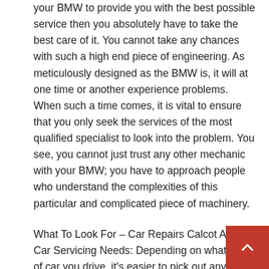your BMW to provide you with the best possible service then you absolutely have to take the best care of it. You cannot take any chances with such a high end piece of engineering. As meticulously designed as the BMW is, it will at one time or another experience problems. When such a time comes, it is vital to ensure that you only seek the services of the most qualified specialist to look into the problem. You see, you cannot just trust any other mechanic with your BMW; you have to approach people who understand the complexities of this particular and complicated piece of machinery.
What To Look For – Car Repairs Calcot And Car Servicing Needs: Depending on what type of car you drive, it's easier to pick out any faults and take care of them before they grow into larger